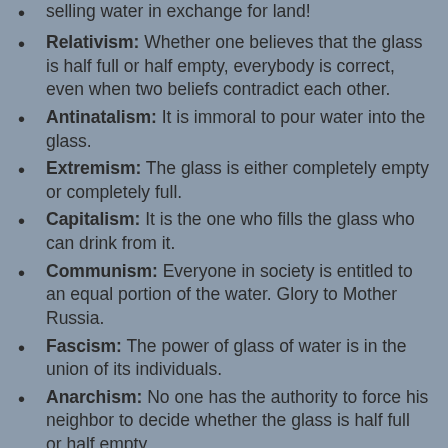selling water in exchange for land!
Relativism: Whether one believes that the glass is half full or half empty, everybody is correct, even when two beliefs contradict each other.
Antinatalism: It is immoral to pour water into the glass.
Extremism: The glass is either completely empty or completely full.
Capitalism: It is the one who fills the glass who can drink from it.
Communism: Everyone in society is entitled to an equal portion of the water. Glory to Mother Russia.
Fascism: The power of glass of water is in the union of its individuals.
Anarchism: No one has the authority to force his neighbor to decide whether the glass is half full or half empty.
Non-conformity: If the system wants us to believe